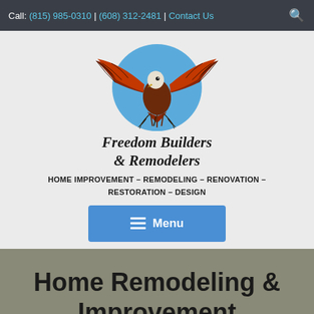Call: (815) 985-0310 | (608) 312-2481 | Contact Us
[Figure (logo): Freedom Builders & Remodelers logo featuring a red eagle with spread wings on a blue circle background, with cursive text 'Freedom Builders & Remodelers']
HOME IMPROVEMENT – REMODELING – RENOVATION – RESTORATION – DESIGN
[Figure (other): Blue menu button with hamburger icon and 'Menu' text]
Home Remodeling & Improvement
Home » Home Remodeling & Improvement